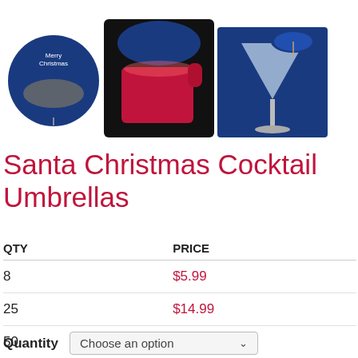[Figure (photo): Three product images of Santa Christmas Cocktail Umbrellas: a round umbrella with Santa sleigh design on dark blue background, a red mug with Christmas umbrella decoration, and a martini glass with Santa umbrella pick.]
Santa Christmas Cocktail Umbrellas
| QTY | PRICE |
| --- | --- |
| 8 | $5.99 |
| 25 | $14.99 |
| 50 | $24.99 |